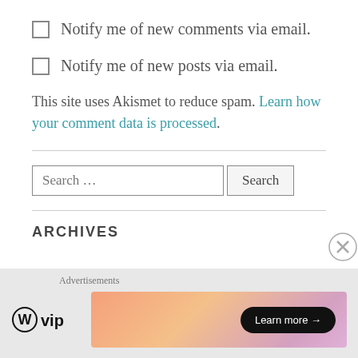Notify me of new comments via email.
Notify me of new posts via email.
This site uses Akismet to reduce spam. Learn how your comment data is processed.
[Figure (other): Search input field with placeholder 'Search …' and a Search button]
ARCHIVES
Advertisements
[Figure (logo): WordPress VIP logo (circle W with 'vip' text)]
[Figure (other): Advertisement banner with gradient background and 'Learn more →' button]